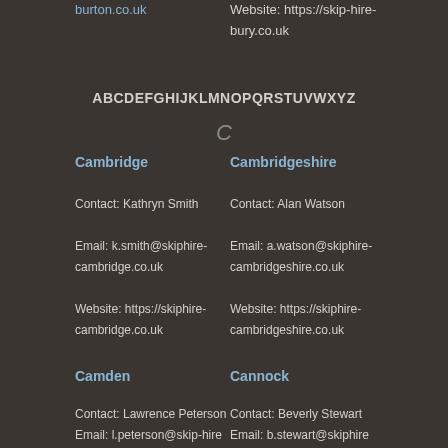burton.co.uk
Website: https://skip-hire-bury.co.uk
ABCDEFGHIJKLMNOPQRSTUVWXYZ
C
Cambridge
Cambridgeshire
Contact: Kathryn Smith
Email: k.smith@skiphire-cambridge.co.uk
Website: https://skiphire-cambridge.co.uk
Contact: Alan Watson
Email: a.watson@skiphire-cambridgeshire.co.uk
Website: https://skiphire-cambridgeshire.co.uk
Camden
Cannock
Contact: Lawrence Peterson
Email: l.peterson@skip-hire
Contact: Beverly Stewart
Email: b.stewart@skiphire